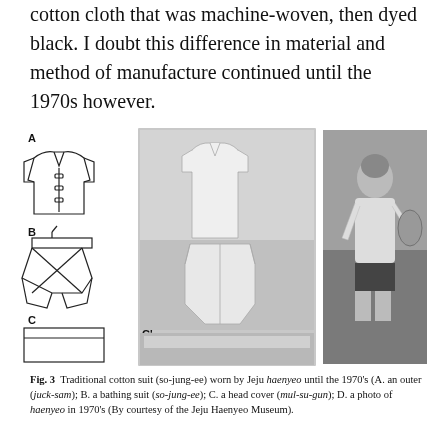cotton cloth that was machine-woven, then dyed black. I doubt this difference in material and method of manufacture continued until the 1970s however.
[Figure (illustration): Composite figure labeled A, A', B, B', C, C', D showing traditional cotton diving suit (so-jung-ee) worn by Jeju haenyeo. A is a line drawing of an outer jacket (juck-sam); A' is a photo of the jacket; B is a line drawing of a bathing suit (so-jung-ee); B' is a photo of the bathing suit; C is a line drawing of a head cover (mul-su-gun); C' is a photo of the head cover; D is a black-and-white photo of a haenyeo diver in 1970s wearing the suit and carrying equipment.]
Fig. 3  Traditional cotton suit (so-jung-ee) worn by Jeju haenyeo until the 1970's (A. an outer (juck-sam); B. a bathing suit (so-jung-ee); C. a head cover (mul-su-gun); D. a photo of haenyeo in 1970's (By courtesy of the Jeju Haenyeo Museum).